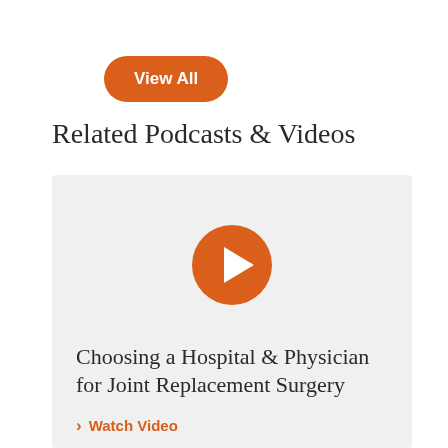View All
Related Podcasts & Videos
[Figure (other): Video thumbnail card with orange play button circle icon, gray background]
Choosing a Hospital & Physician for Joint Replacement Surgery
Watch Video